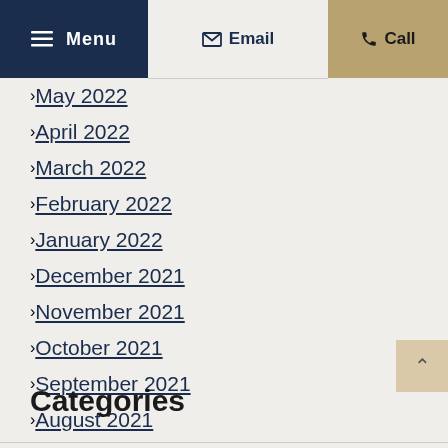Menu | Email | Call
May 2022
April 2022
March 2022
February 2022
January 2022
December 2021
November 2021
October 2021
September 2021
August 2021
Categories